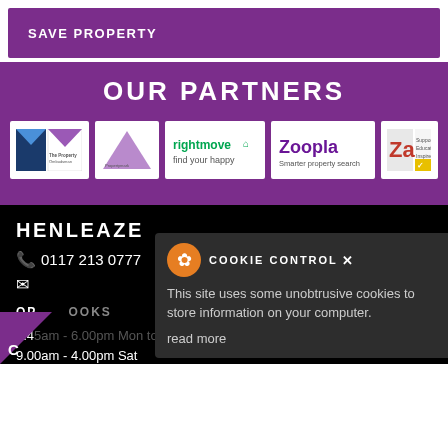SAVE PROPERTY
OUR PARTNERS
[Figure (logo): Partner logos: The Property Ombudsman, Arla/Propertymark, Rightmove find your happy, Zoopla smarter property search, Za Support Educate Inspire]
HENLEAZE
0117 213 0777
OPENING HOURS
8.45am - 6.00pm Mon to Fri
9.00am - 4.00pm Sat
COOKIE CONTROL
This site uses some unobtrusive cookies to store information on your computer.
read more